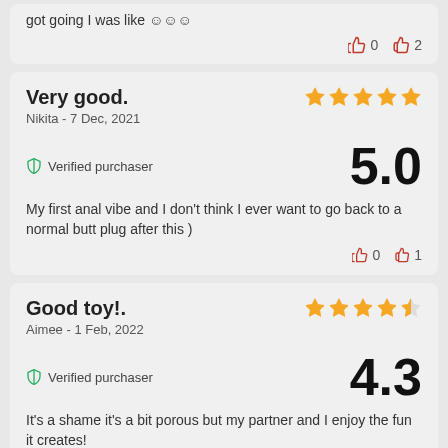got going I was like 😊😊😊
👎 0   👍 2
Very good.
Nikita - 7 Dec, 2021
⭐⭐⭐⭐⭐ 5.0
🛡 Verified purchaser
My first anal vibe and I don't think I ever want to go back to a normal butt plug after this )
👎 0   👍 1
Good toy!.
Aimee - 1 Feb, 2022
⭐⭐⭐⭐½ 4.3
🛡 Verified purchaser
It's a shame it's a bit porous but my partner and I enjoy the fun it creates!